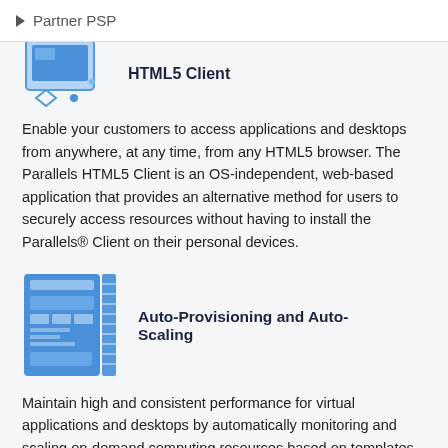Partner PSP
[Figure (illustration): HTML5 Client icon - blue computer/monitor with diamond shapes, partially cropped at top]
HTML5 Client
Enable your customers to access applications and desktops from anywhere, at any time, from any HTML5 browser. The Parallels HTML5 Client is an OS-independent, web-based application that provides an alternative method for users to securely access resources without having to install the Parallels® Client on their personal devices.
[Figure (illustration): Auto-Provisioning and Auto-Scaling icon - blue dashboard/server UI with ruler on side]
Auto-Provisioning and Auto-Scaling
Maintain high and consistent performance for virtual applications and desktops by automatically monitoring and scaling on-demand computing resources based on templates. Parallels RAS can dynamically create, remove